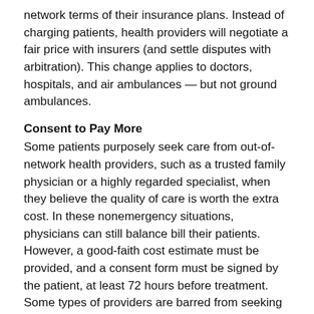network terms of their insurance plans. Instead of charging patients, health providers will negotiate a fair price with insurers (and settle disputes with arbitration). This change applies to doctors, hospitals, and air ambulances — but not ground ambulances.
Consent to Pay More
Some patients purposely seek care from out-of-network health providers, such as a trusted family physician or a highly regarded specialist, when they believe the quality of care is worth the extra cost. In these nonemergency situations, physicians can still balance bill their patients. However, a good-faith cost estimate must be provided, and a consent form must be signed by the patient, at least 72 hours before treatment. Some types of providers are barred from seeking consent to balance bill for their services, including anesthesiologists, radiologists, pathologists, neonatologists, assistant surgeons, and laboratories.
Who's Afraid of High Health-Care Costs? Most People